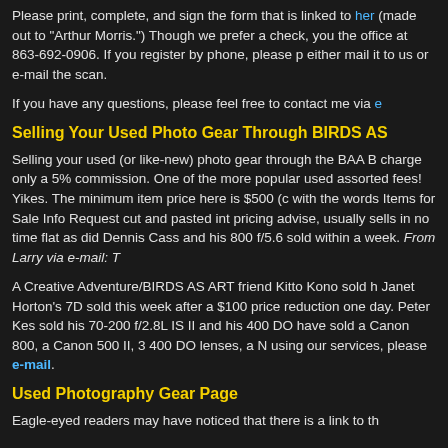Please print, complete, and sign the form that is linked to here (made out to "Arthur Morris.") Though we prefer a check, you the office at 863-692-0906. If you register by phone, please p either mail it to us or e-mail the scan.
If you have any questions, please feel free to contact me via e
Selling Your Used Photo Gear Through BIRDS AS
Selling your used (or like-new) photo gear through the BAA B charge only a 5% commission. One of the more popular used assorted fees! Yikes. The minimum item price here is $500 (c with the words Items for Sale Info Request cut and pasted int pricing advise, usually sells in no time flat as did Dennis Cass and his 800 f/5.6 sold within a week. From Larry via e-mail: T
A Creative Adventure/BIRDS AS ART friend Kitto Kono sold h Janet Horton's 7D sold this week after a $100 price reduction one day. Peter Kes sold his 70-200 f/2.8L IS II and his 400 DO have sold a Canon 800, a Canon 500 II, 3 400 DO lenses, a N using our services, please e-mail.
Used Photography Gear Page
Eagle-eyed readers may have noticed that there is a link to th